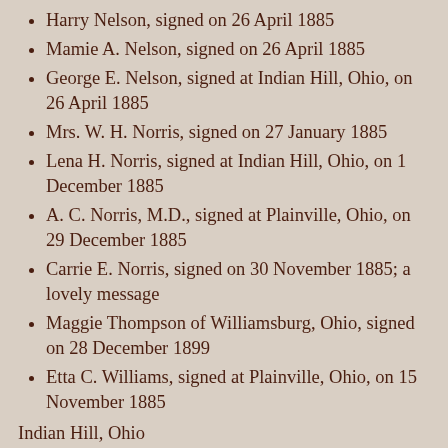Harry Nelson, signed on 26 April 1885
Mamie A. Nelson, signed on 26 April 1885
George E. Nelson, signed at Indian Hill, Ohio, on 26 April 1885
Mrs. W. H. Norris, signed on 27 January 1885
Lena H. Norris, signed at Indian Hill, Ohio, on 1 December 1885
A. C. Norris, M.D., signed at Plainville, Ohio, on 29 December 1885
Carrie E. Norris, signed on 30 November 1885; a lovely message
Maggie Thompson of Williamsburg, Ohio, signed on 28 December 1899
Etta C. Williams, signed at Plainville, Ohio, on 15 November 1885
Indian Hill, Ohio